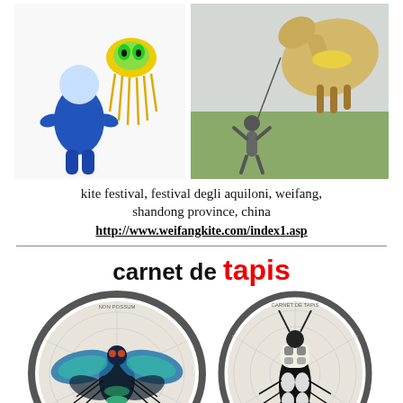[Figure (photo): Two kite photos side by side: left shows a blue humanoid figure kite with a yellow alien/jellyfish kite behind it on white background; right shows a person flying a large horse-shaped kite in an open field.]
kite festival, festival degli aquiloni, weifang, shandong province, china
http://www.weifangkite.com/index1.asp
carnet de tapis
[Figure (photo): Two circular embroidery hoop artworks side by side: left hoop contains a large dark blue/green insect (fly or bee) mounted on a geometric patterned fabric; right hoop contains a black and white/cream patterned beetle on similar fabric. Both hoops have a gray oval border.]